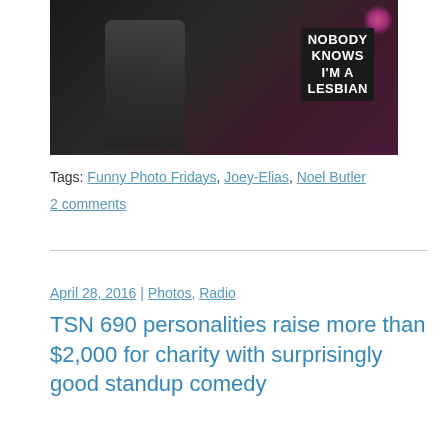[Figure (photo): Two people at a comedy event, one wearing a black t-shirt reading 'NOBODY KNOWS I'M A LESBIAN', with a neon light in the background]
Tags: Funny Photo Fridays, Joey-Elias, Noel Butler
2 comments
April 28, 2016 | Photos, Radio
TSN 690 personalities raise more than $2,000 for charity with surprisingly good standup comedy